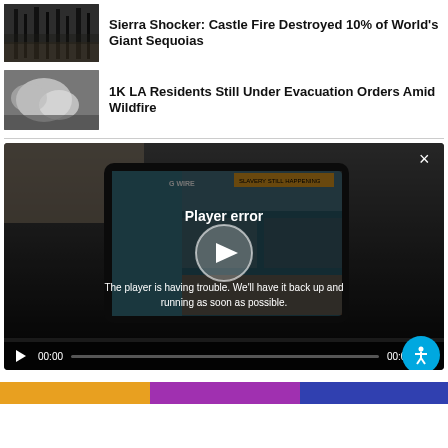[Figure (photo): Burned forest with charred tree trunks]
Sierra Shocker: Castle Fire Destroyed 10% of World's Giant Sequoias
[Figure (photo): Aerial view of clouds and mountainous landscape]
1K LA Residents Still Under Evacuation Orders Amid Wildfire
[Figure (screenshot): Video player showing player error message with GWire website screenshot behind overlay. Text reads: Player error. The player is having trouble. We'll have it back up and running as soon as possible.]
[Figure (photo): Partial view of colorful image at bottom of page]